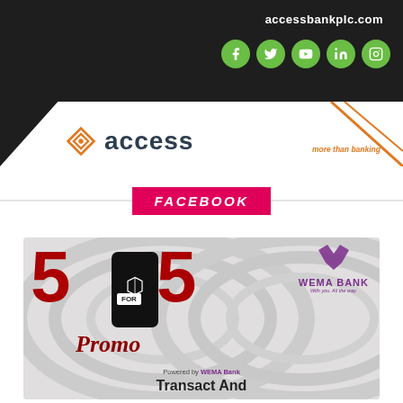[Figure (other): Access Bank advertisement banner with dark background, green social media icons, Access Bank logo, and 'more than banking' tagline. Website URL: accessbankplc.com]
FACEBOOK
[Figure (other): Wema Bank '5 for 5 Promo' promotional banner. Features large bold red '5' digits, a hand holding a smartphone with ALAT logo, 'FOR' label, 'Promo' script text, 'Powered by WEMA Bank', 'Transact And' text. Wema Bank logo in purple on the right.]